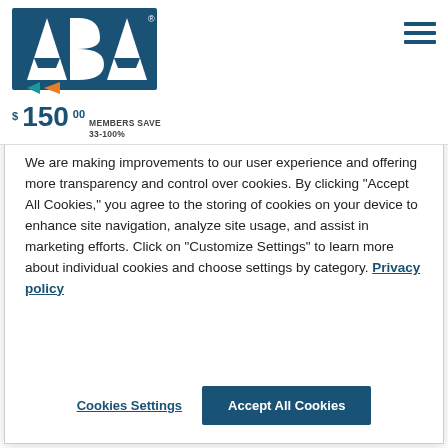[Figure (logo): ABA (American Bar Association) logo with blue letters and orange/teal triangle arrows]
$ 150 00  MEMBERS SAVE 33-100%
We are making improvements to our user experience and offering more transparency and control over cookies. By clicking "Accept All Cookies," you agree to the storing of cookies on your device to enhance site navigation, analyze site usage, and assist in marketing efforts. Click on "Customize Settings" to learn more about individual cookies and choose settings by category. Privacy policy
Cookies Settings
Accept All Cookies